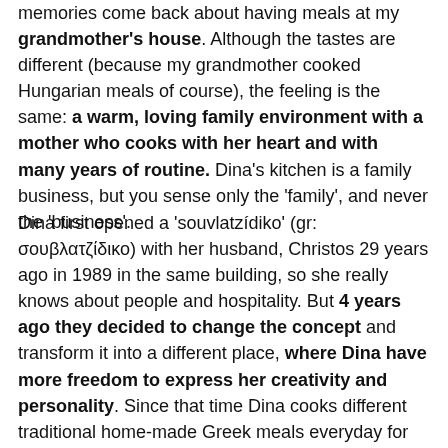memories come back about having meals at my grandmother's house. Although the tastes are different (because my grandmother cooked Hungarian meals of course), the feeling is the same: a warm, loving family environment with a mother who cooks with her heart and with many years of routine. Dina's kitchen is a family business, but you sense only the 'family', and never the 'business'.
Dina first opened a 'souvlatzídiko' (gr: σουβλατζίδικο) with her husband, Christos 29 years ago in 1989 in the same building, so she really knows about people and hospitality. But 4 years ago they decided to change the concept and transform it into a different place, where Dina have more freedom to express her creativity and personality. Since that time Dina cooks different traditional home-made Greek meals everyday for their guests. And everyday something different, just like our mother's doing it. You can always read